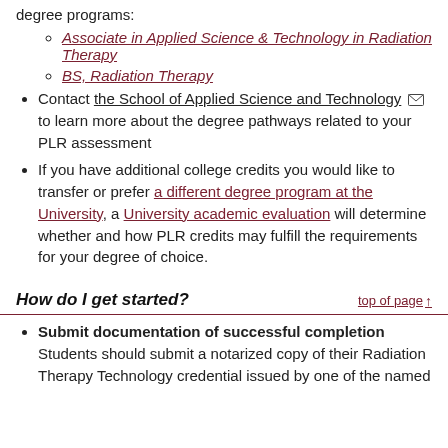degree programs:
Associate in Applied Science & Technology in Radiation Therapy
BS, Radiation Therapy
Contact the School of Applied Science and Technology [mail icon] to learn more about the degree pathways related to your PLR assessment
If you have additional college credits you would like to transfer or prefer a different degree program at the University, a University academic evaluation will determine whether and how PLR credits may fulfill the requirements for your degree of choice.
How do I get started?
Submit documentation of successful completion
Students should submit a notarized copy of their Radiation Therapy Technology credential issued by one of the named